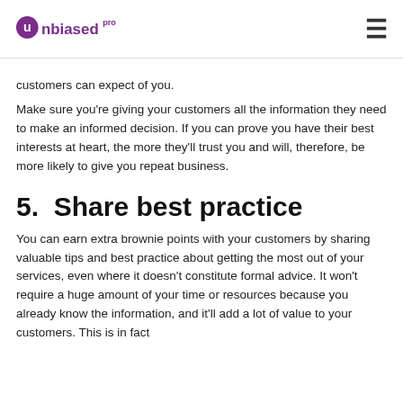unbiased pro
customers can expect of you.
Make sure you're giving your customers all the information they need to make an informed decision. If you can prove you have their best interests at heart, the more they'll trust you and will, therefore, be more likely to give you repeat business.
5.  Share best practice
You can earn extra brownie points with your customers by sharing valuable tips and best practice about getting the most out of your services, even where it doesn't constitute formal advice. It won't require a huge amount of your time or resources because you already know the information, and it'll add a lot of value to your customers. This is in fact